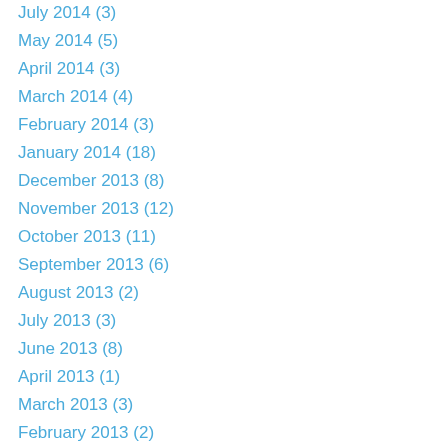July 2014 (3)
May 2014 (5)
April 2014 (3)
March 2014 (4)
February 2014 (3)
January 2014 (18)
December 2013 (8)
November 2013 (12)
October 2013 (11)
September 2013 (6)
August 2013 (2)
July 2013 (3)
June 2013 (8)
April 2013 (1)
March 2013 (3)
February 2013 (2)
January 2013 (3)
December 2012 (8)
November 2012 (16)
October 2012 (12)